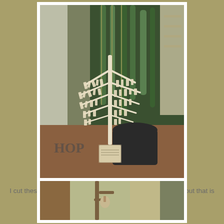[Figure (photo): A decorative craft tree made of frayed paper/fabric strips tied to white branches, sitting in a small box base, with a snake plant in the background and the word 'HOP' visible on a sign/item in foreground.]
I cut these strips to be 1 1/2 inches wide...they frayed a bit but that is ok because thats the look I wanted....OLD :)
[Figure (photo): A partial photo showing what appears to be craft materials near a window with outdoor foliage visible.]